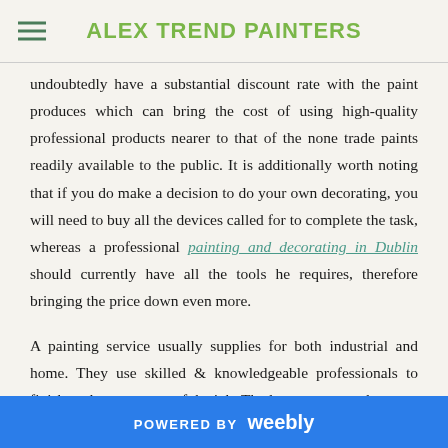ALEX TREND PAINTERS
undoubtedly have a substantial discount rate with the paint produces which can bring the cost of using high-quality professional products nearer to that of the none trade paints readily available to the public. It is additionally worth noting that if you do make a decision to do your own decorating, you will need to buy all the devices called for to complete the task, whereas a professional painting and decorating in Dublin should currently have all the tools he requires, therefore bringing the price down even more.
A painting service usually supplies for both industrial and home. They use skilled & knowledgeable professionals to finish each component of the job. The layout stage and
POWERED BY weebly